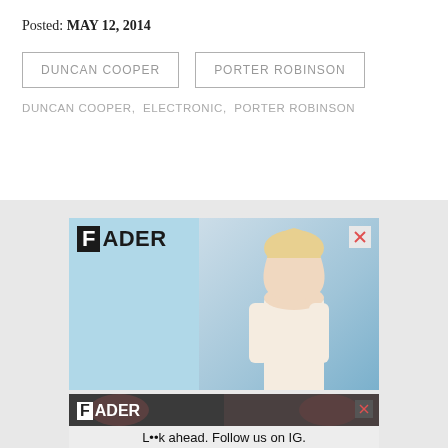Posted: MAY 12, 2014
DUNCAN COOPER
PORTER ROBINSON
DUNCAN COOPER,  ELECTRONIC,  PORTER ROBINSON
[Figure (photo): FADER magazine advertisement featuring a blonde woman against a light blue background, with a close X button in the top right corner]
[Figure (photo): FADER magazine bottom advertisement with dark background, two women visible, and text 'L••k ahead. Follow us on IG.']